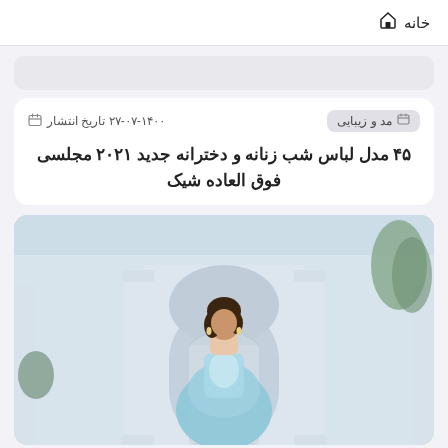خانه 🏠
مد و زیبایی  |  تاریخ انتشار ۱۴۰۰-۰۷-۲۷
۴۵ مدل لباس شب زنانه و دخترانه جدید ۲۰۲۱ مجلسی فوق العاده شیک
[Figure (photo): A woman in a light blue embellished evening gown standing in front of a white classical architectural backdrop with arched doorways and columns.]